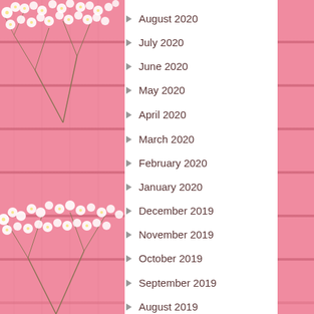[Figure (photo): Pink wooden plank background with white baby's breath flowers in top-left and bottom-left corners, forming left decorative strip]
August 2020
July 2020
June 2020
May 2020
April 2020
March 2020
February 2020
January 2020
December 2019
November 2019
October 2019
September 2019
August 2019